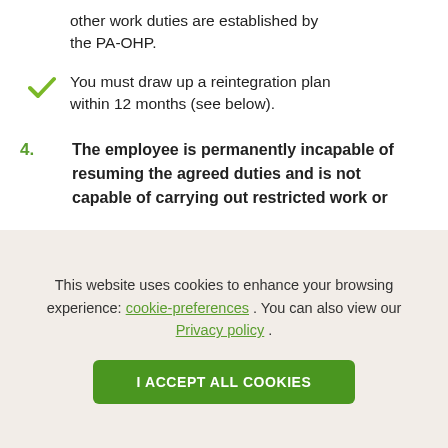other work duties are established by the PA-OHP.
You must draw up a reintegration plan within 12 months (see below).
4. The employee is permanently incapable of resuming the agreed duties and is not capable of carrying out restricted work or
This website uses cookies to enhance your browsing experience: cookie-preferences . You can also view our Privacy policy .
I ACCEPT ALL COOKIES